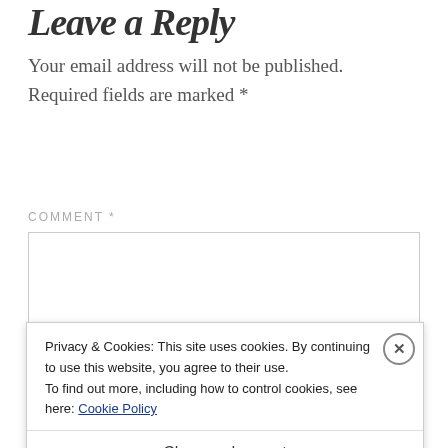Leave a Reply
Your email address will not be published. Required fields are marked *
COMMENT *
[Figure (screenshot): Empty comment textarea input box with light gray border]
Privacy & Cookies: This site uses cookies. By continuing to use this website, you agree to their use.
To find out more, including how to control cookies, see here: Cookie Policy
Close and accept